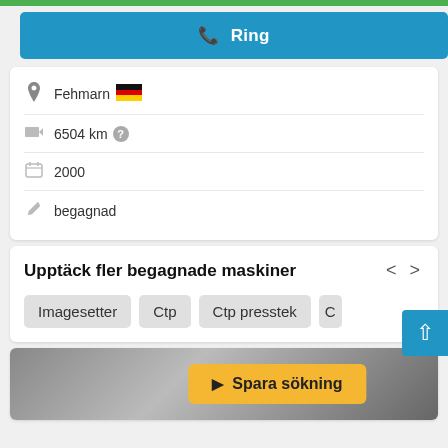[Figure (screenshot): Green top progress/status bar at top of page]
Ring
Fehmarn 🇩🇪
6504 km ?
2000
begagnad
Upptäck fler begagnade maskiner
Imagesetter
Ctp
Ctp presstek
C
Spara sökning